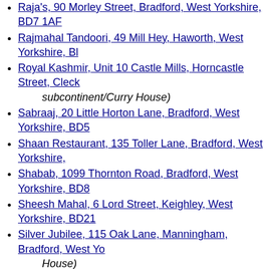Raja's, 90 Morley Street, Bradford, West Yorkshire, BD7 1AF
Rajmahal Tandoori, 49 Mill Hey, Haworth, West Yorkshire, BL
Royal Kashmir, Unit 10 Castle Mills, Horncastle Street, Cleck… subcontinent/Curry House)
Sabraaj, 20 Little Horton Lane, Bradford, West Yorkshire, BD5
Shaan Restaurant, 135 Toller Lane, Bradford, West Yorkshire,
Shabab, 1099 Thornton Road, Bradford, West Yorkshire, BD8
Sheesh Mahal, 6 Lord Street, Keighley, West Yorkshire, BD21
Silver Jubilee, 115 Oak Lane, Manningham, Bradford, West Yo… House)
Sweet Centre, 110 Lumb Lane, Bradford, BD8 7RS (Food/India…
Tandoori Nights, 53 North Parade, Bradford, West Yorkshire, B
The Curry House, 112 East Parade, Keighley, West Yorkshire,
the inn-dian, spotted house, 22 keighley road, bradford, west. y… House)
Full Category List
Accommodation
Accommodation/Budget
Accommodation/Other